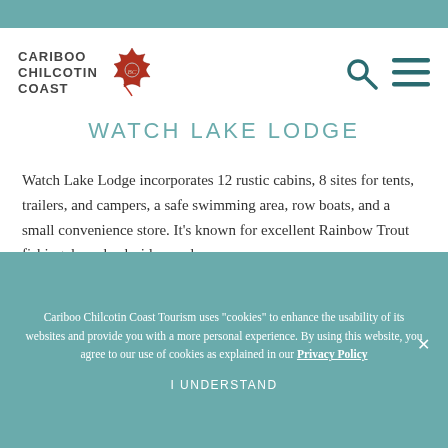[Figure (logo): Cariboo Chilcotin Coast tourism logo with maple leaf icon and BC text]
WATCH LAKE LODGE
Watch Lake Lodge incorporates 12 rustic cabins, 8 sites for tents, trailers, and campers, a safe swimming area, row boats, and a small convenience store. It's known for excellent Rainbow Trout fishing, horseback rides, and even
Cariboo Chilcotin Coast Tourism uses "cookies" to enhance the usability of its websites and provide you with a more personal experience. By using this website, you agree to our use of cookies as explained in our Privacy Policy
I UNDERSTAND